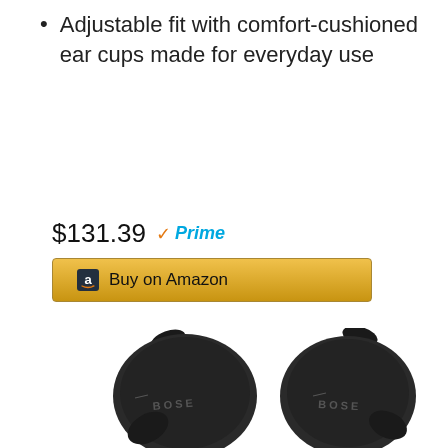Adjustable fit with comfort-cushioned ear cups made for everyday use
$131.39 Prime
[Figure (other): Amazon buy button with orange Amazon logo and text 'Buy on Amazon' on a golden background]
[Figure (photo): Two Bose true wireless earbuds in black with BOSE branding, shown against white background]